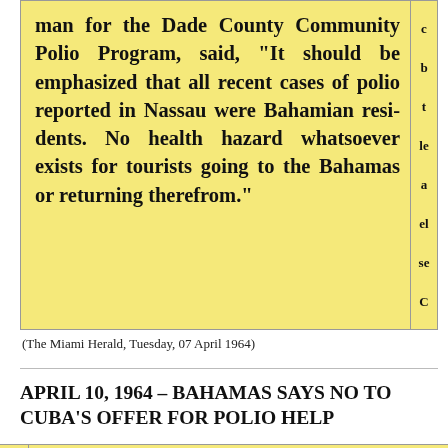[Figure (photo): Scanned newspaper clipping on yellow background showing a quote about polio cases in Nassau being Bahamian residents and no health hazard for tourists going to or returning from the Bahamas. Text cut off on the right side with partial letters visible.]
(The Miami Herald, Tuesday, 07 April 1964)
APRIL 10, 1964 – BAHAMAS SAYS NO TO CUBA'S OFFER FOR POLIO HELP
[Figure (photo): Partial scanned newspaper clipping on yellow background with large bold italic text reading 'Bahamas Bars Cuban' — text is cut off. Left edge shows partial italic letter 'e'.]